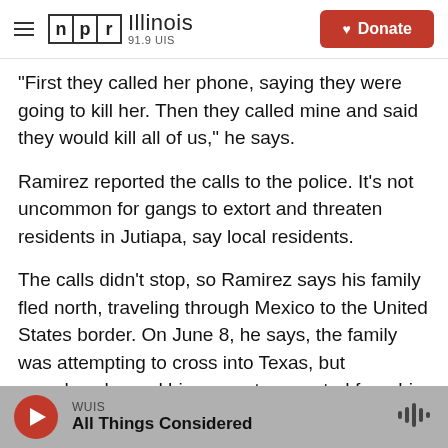NPR Illinois 91.9 UIS | Donate
"First they called her phone, saying they were going to kill her. Then they called mine and said they would kill all of us," he says.
Ramirez reported the calls to the police. It's not uncommon for gangs to extort and threaten residents in Jutiapa, say local residents.
The calls didn't stop, so Ramirez says his family fled north, traveling through Mexico to the United States border. On June 8, he says, the family was attempting to cross into Texas, but somehow he and his son got separated from his wife. Soon he
WUIS | All Things Considered